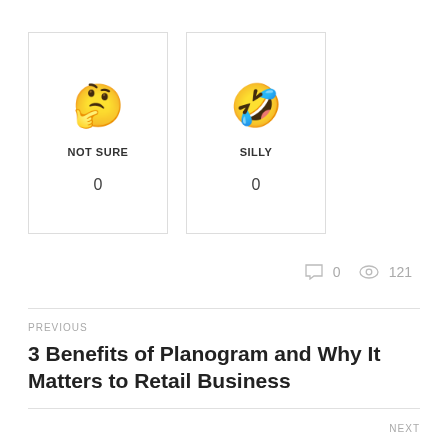[Figure (infographic): Two emoji reaction cards side by side. Left card: thinking face emoji, label NOT SURE, count 0. Right card: grinning face with teeth emoji, label SILLY, count 0.]
0  121
PREVIOUS
3 Benefits of Planogram and Why It Matters to Retail Business
NEXT